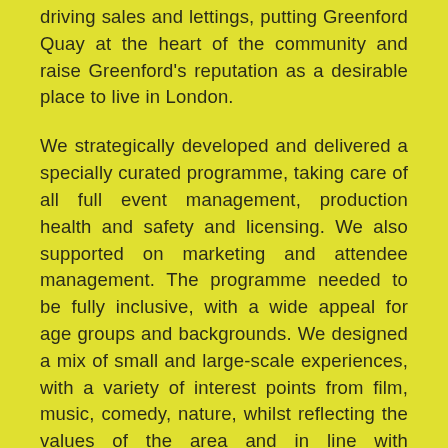driving sales and lettings, putting Greenford Quay at the heart of the community and raise Greenford's reputation as a desirable place to live in London.
We strategically developed and delivered a specially curated programme, taking care of all full event management, production health and safety and licensing. We also supported on marketing and attendee management. The programme needed to be fully inclusive, with a wide appeal for age groups and backgrounds. We designed a mix of small and large-scale experiences, with a variety of interest points from film, music, comedy, nature, whilst reflecting the values of the area and in line with development strategic